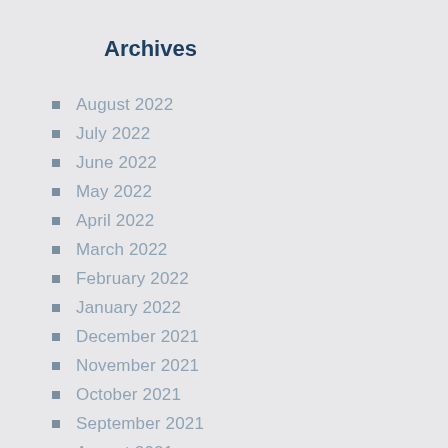Archives
August 2022
July 2022
June 2022
May 2022
April 2022
March 2022
February 2022
January 2022
December 2021
November 2021
October 2021
September 2021
August 2021
July 2021